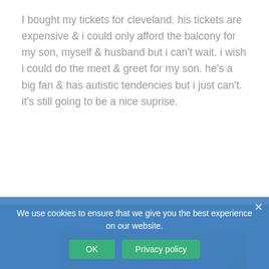I bought my tickets for cleveland. his tickets are expensive & i could only afford the balcony for my son, myself & husband but i can't wait. i wish i could do the meet & greet for my son. he's a big fan & has autistic tendencies but i just can't. it's still going to be a nice suprise.
Shop Now
We use cookies to ensure that we give you the best experience on our website.
OK   Privacy policy